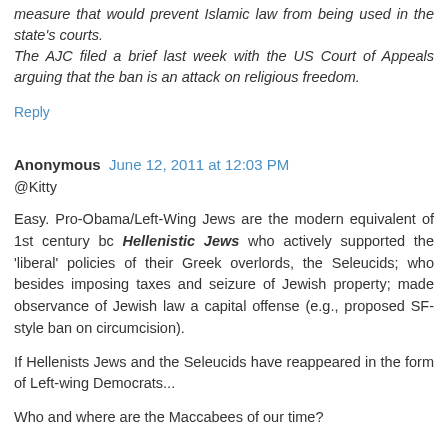measure that would prevent Islamic law from being used in the state's courts.
The AJC filed a brief last week with the US Court of Appeals arguing that the ban is an attack on religious freedom.
Reply
Anonymous  June 12, 2011 at 12:03 PM
@Kitty
Easy. Pro-Obama/Left-Wing Jews are the modern equivalent of 1st century bc Hellenistic Jews who actively supported the 'liberal' policies of their Greek overlords, the Seleucids; who besides imposing taxes and seizure of Jewish property; made observance of Jewish law a capital offense (e.g., proposed SF-style ban on circumcision).
If Hellenists Jews and the Seleucids have reappeared in the form of Left-wing Democrats...
Who and where are the Maccabees of our time?